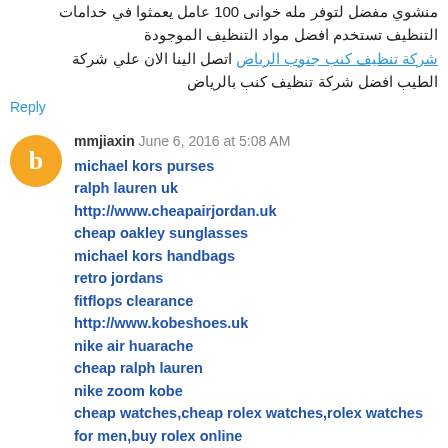منشوي مفضل لتوفر مله خواني 100 عامل يعمثوا في خدامات التنظيف تستخدم افضل مواد التنظيف الموجودة شركة تنظيف كنب جنوب الرياض اتصل الينا الان علي شركة الطيب افضل شركة تنظيف كنب بالرياض
Reply
mmjiaxin June 6, 2016 at 5:08 AM
michael kors purses
ralph lauren uk
http://www.cheapairjordan.uk
cheap oakley sunglasses
michael kors handbags
retro jordans
fitflops clearance
http://www.kobeshoes.uk
nike air huarache
cheap ralph lauren
nike zoom kobe
cheap watches,cheap rolex watches,rolex watches for men,buy rolex online
kobe basketball shoes